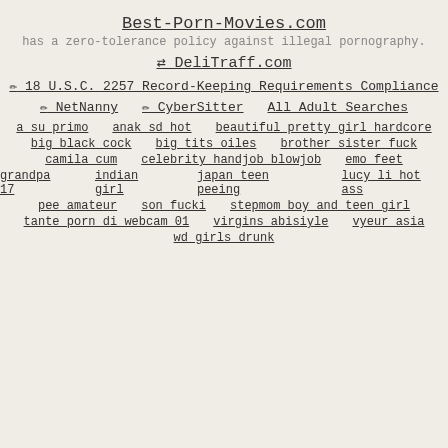Best-Porn-Movies.com
has a zero-tolerance policy against illegal pornography.
⇄ DeliTraff.com
✏ 18 U.S.C. 2257 Record-Keeping Requirements Compliance
✏ NetNanny   ✏ CyberSitter   All Adult Searches
a su primo
anak sd hot
beautiful pretty girl hardcore
big black cock
big tits oiles
brother sister fuck
camila cum
celebrity handjob blowjob
emo feet
grandpa 17
indian girl
japan teen peeing
lucy li hot ass
pee amateur
son fucki
stepmom boy and teen girl
tante porn di webcam 01
virgins abisiyle
vyeur asia
wd girls drunk